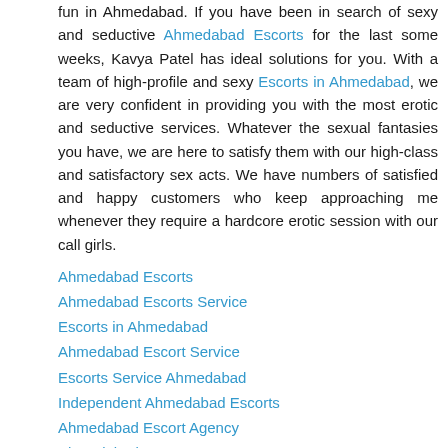fun in Ahmedabad. If you have been in search of sexy and seductive Ahmedabad Escorts for the last some weeks, Kavya Patel has ideal solutions for you. With a team of high-profile and sexy Escorts in Ahmedabad, we are very confident in providing you with the most erotic and seductive services. Whatever the sexual fantasies you have, we are here to satisfy them with our high-class and satisfactory sex acts. We have numbers of satisfied and happy customers who keep approaching me whenever they require a hardcore erotic session with our call girls.
Ahmedabad Escorts
Ahmedabad Escorts Service
Escorts in Ahmedabad
Ahmedabad Escort Service
Escorts Service Ahmedabad
Independent Ahmedabad Escorts
Ahmedabad Escort Agency
Ahmedabad Escort
Kolkata Escorts
Call Girls in Ahmedabad
Ahmedabad Escort
Jaipur Escort